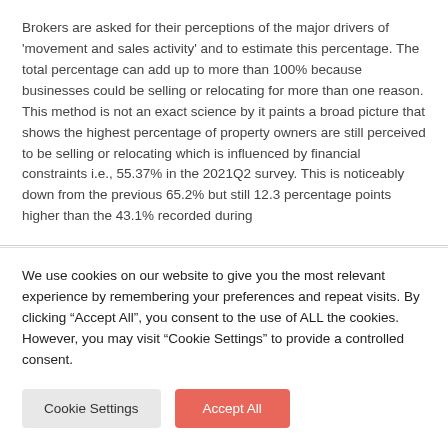Brokers are asked for their perceptions of the major drivers of 'movement and sales activity' and to estimate this percentage. The total percentage can add up to more than 100% because businesses could be selling or relocating for more than one reason. This method is not an exact science by it paints a broad picture that shows the highest percentage of property owners are still perceived to be selling or relocating which is influenced by financial constraints i.e., 55.37% in the 2021Q2 survey. This is noticeably down from the previous 65.2% but still 12.3 percentage points higher than the 43.1% recorded during
We use cookies on our website to give you the most relevant experience by remembering your preferences and repeat visits. By clicking "Accept All", you consent to the use of ALL the cookies. However, you may visit "Cookie Settings" to provide a controlled consent.